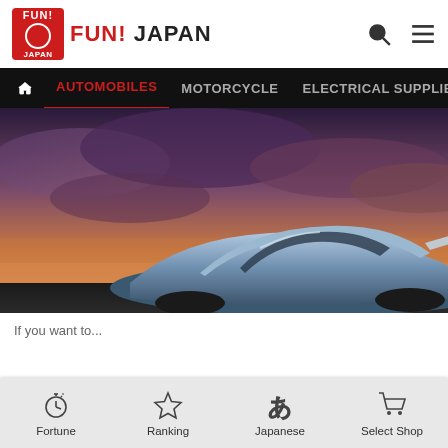FUN! JAPAN
[Figure (screenshot): Navigation bar with AUTOMOBILES (active, red), MOTORCYCLE, ELECTRICAL SUPPLIES & HOM... on dark background]
[Figure (photo): Hero image of a blue sports car driving under a dramatic sunset sky with purple and orange clouds]
If you want to...
Fortune | Ranking | Japanese | Select Shop